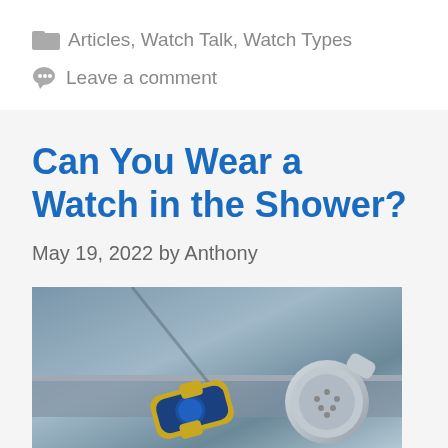Articles, Watch Talk, Watch Types
Leave a comment
Can You Wear a Watch in the Shower?
May 19, 2022 by Anthony
[Figure (photo): A watch and a showerhead sitting on a wet shower ledge, photographed from above]